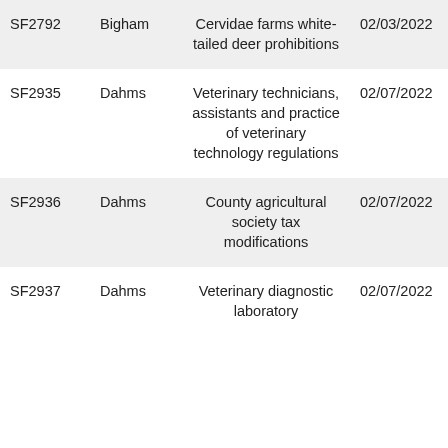| SF2792 | Bigham | Cervidae farms white-tailed deer prohibitions | 02/03/2022 |  |
| SF2935 | Dahms | Veterinary technicians, assistants and practice of veterinary technology regulations | 02/07/2022 |  |
| SF2936 | Dahms | County agricultural society tax modifications | 02/07/2022 | 02/28/2022 |
| SF2937 | Dahms | Veterinary diagnostic laboratory | 02/07/2022 | 02/28/2022 |